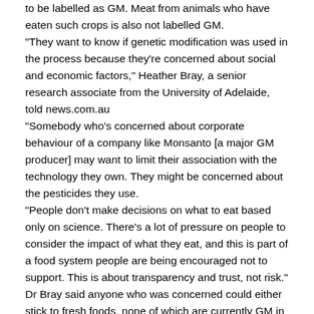to be labelled as GM. Meat from animals who have eaten such crops is also not labelled GM.
"They want to know if genetic modification was used in the process because they're concerned about social and economic factors," Heather Bray, a senior research associate from the University of Adelaide, told news.com.au
“Somebody who’s concerned about corporate behaviour of a company like Monsanto [a major GM producer] may want to limit their association with the technology they own. They might be concerned about the pesticides they use.
"People don’t make decisions on what to eat based only on science. There’s a lot of pressure on people to consider the impact of what they eat, and this is part of a food system people are being encouraged not to support. This is about transparency and trust, not risk."
Dr Bray said anyone who was concerned could either stick to fresh foods, none of which are currently GM in Australia, or look for products certified as organic in Australia. Many organisations encourage consumers to demand clear